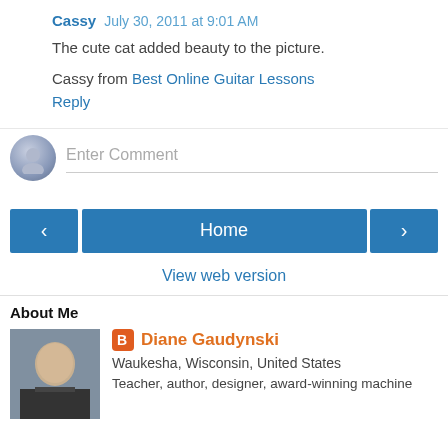Cassy  July 30, 2011 at 9:01 AM
The cute cat added beauty to the picture.
Cassy from Best Online Guitar Lessons
Reply
Enter Comment
Home
View web version
About Me
Diane Gaudynski
Waukesha, Wisconsin, United States
Teacher, author, designer, award-winning machine